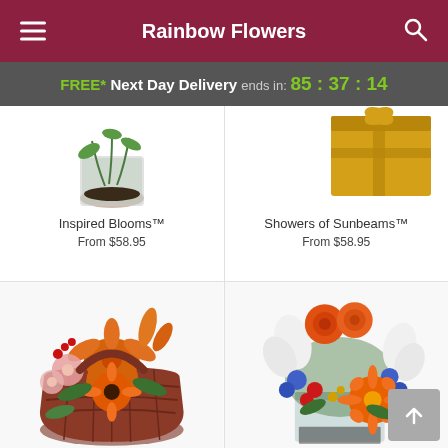Rainbow Flowers
FREE* Next Day Delivery ends in: 85:37:14
[Figure (photo): Partial view of flower arrangement in glass vase (Inspired Blooms) - top portion visible]
Inspired Blooms™
From $58.95
[Figure (photo): Partial view of yellow gift box with flowers (Showers of Sunbeams) - top portion visible]
Showers of Sunbeams™
From $58.95
[Figure (photo): Orange and pink flower arrangement in a dark wicker basket with lilies, alstroemeria, and gerbera daisies]
[Figure (photo): Colorful flower arrangement in a square glass vase with orange roses, gerbera daisies, blue flowers, and white lilies]